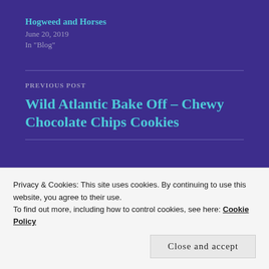Hogweed and Horses
June 20, 2019
In "Blog"
PREVIOUS POST
Wild Atlantic Bake Off – Chewy Chocolate Chips Cookies
NEXT POST
Privacy & Cookies: This site uses cookies. By continuing to use this website, you agree to their use. To find out more, including how to control cookies, see here: Cookie Policy
Close and accept